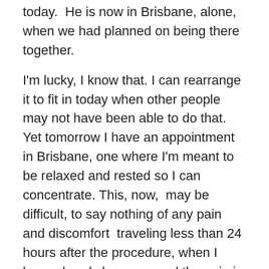today.  He is now in Brisbane, alone, when we had planned on being there together.
I'm lucky, I know that. I can rearrange it to fit in today when other people may not have been able to do that. Yet tomorrow I have an appointment in Brisbane, one where I'm meant to be relaxed and rested so I can concentrate. This, now,  may be difficult, to say nothing of any pain and discomfort  traveling less than 24 hours after the procedure, when I have already been warned the pain is increased for a week afterwards. An hour and a half each way… not much, but enough.
[Figure (photo): Broken image placeholder labeled 'another pain picture']
image from peoplespharmacy.com
Alright, it's time to get that new slant back. I have my blog